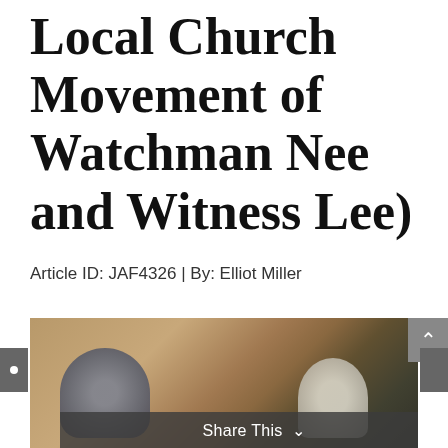Local Church Movement of Watchman Nee and Witness Lee)
Article ID: JAF4326 | By: Elliot Miller
[Figure (photo): Two men sitting across from each other in a room, one elderly man in a blue jacket on the left and a younger man on the right, with furniture and curtains in the background. A 'Share This' bar overlays the bottom of the image.]